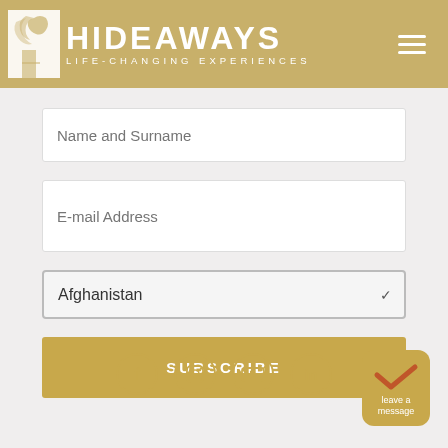HIDEAWAYS LIFE-CHANGING EXPERIENCES
Name and Surname
E-mail Address
Afghanistan
SUBSCRIBE
[Figure (infographic): Social media icons: Facebook, Instagram, YouTube, LinkedIn in gold circles]
[Figure (infographic): Leave a message widget: gold rounded square with checkmark and text 'leave a message']